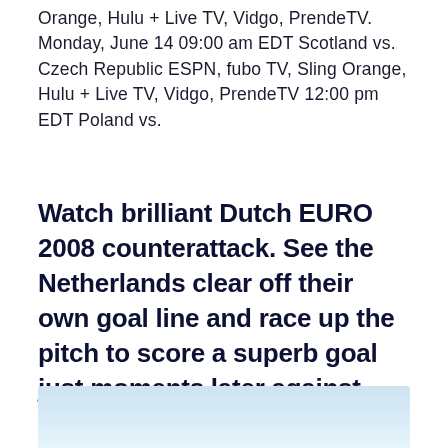Orange, Hulu + Live TV, Vidgo, PrendeTV. Monday, June 14 09:00 am EDT Scotland vs. Czech Republic ESPN, fubo TV, Sling Orange, Hulu + Live TV, Vidgo, PrendeTV 12:00 pm EDT Poland vs.
Watch brilliant Dutch EURO 2008 counterattack. See the Netherlands clear off their own goal line and race up the pitch to score a superb goal just moments later against Italy. 03:30. Live.
[Figure (photo): Partial view of an image with a light blue gradient background, appearing to be a sports-related photo partially cut off at the bottom of the page.]